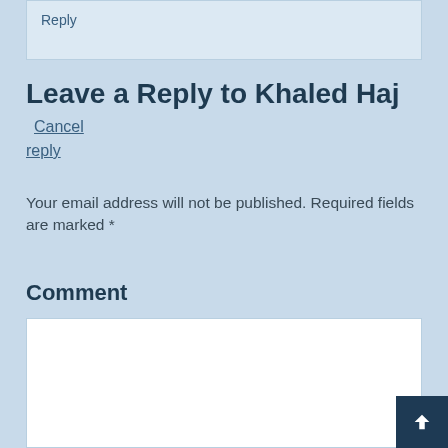Reply
Leave a Reply to Khaled Haj Cancel reply
Your email address will not be published. Required fields are marked *
Comment
[Figure (other): Empty comment text area input field]